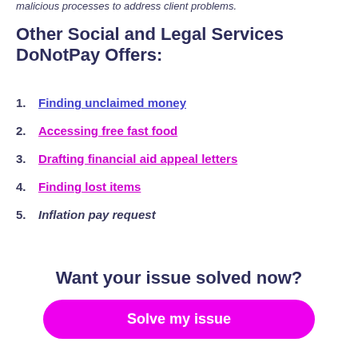malicious processes to address client problems.
Other Social and Legal Services DoNotPay Offers:
1. Finding unclaimed money
2. Accessing free fast food
3. Drafting financial aid appeal letters
4. Finding lost items
5. Inflation pay request
Want your issue solved now?
Solve my issue